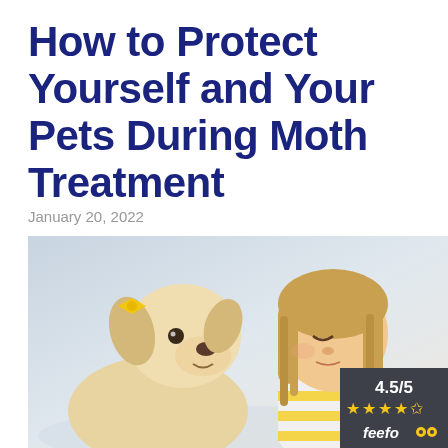How to Protect Yourself and Your Pets During Moth Treatment
January 20, 2022
[Figure (photo): A young blonde child nose-to-nose with a yellow Labrador puppy wearing a yellow bow. The scene is warm and affectionate. In the bottom-right corner is a Feefo rating badge showing 4.5/5 stars.]